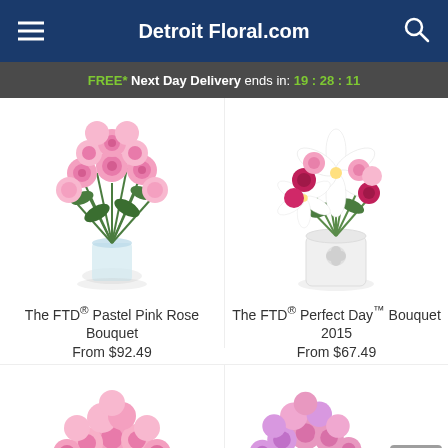Detroit Floral.com
FREE* Next Day Delivery ends in: 19:28:11
[Figure (photo): The FTD Pastel Pink Rose Bouquet - pink roses in glass vase]
The FTD® Pastel Pink Rose Bouquet
From $92.49
[Figure (photo): The FTD Perfect Day Bouquet 2015 - white lilies and pink flowers in white vase]
The FTD® Perfect Day™ Bouquet 2015
From $67.49
[Figure (photo): Pink roses bouquet - bottom left, partially visible]
[Figure (photo): Pink and purple roses bouquet - bottom right, partially visible]